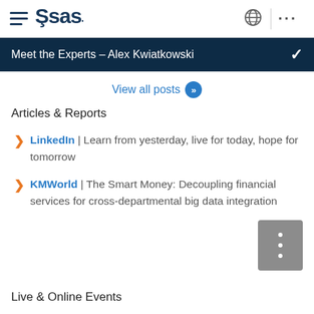SAS navigation header with hamburger menu, SAS logo, globe icon, and more options
Meet the Experts – Alex Kwiatkowski
View all posts
Articles & Reports
LinkedIn | Learn from yesterday, live for today, hope for tomorrow
KMWorld | The Smart Money: Decoupling financial services for cross-departmental big data integration
Live & Online Events